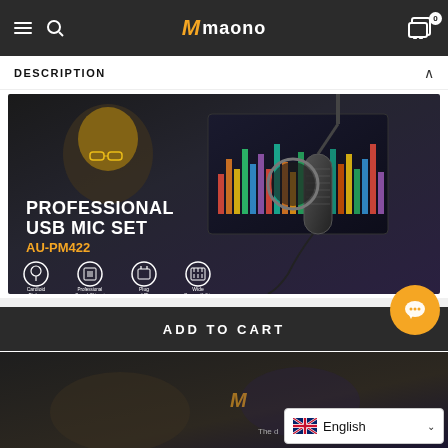maono
DESCRIPTION
[Figure (photo): Product marketing image for Maono AU-PM422 Professional USB Mic Set showing a person with glasses in front of a monitor with a condenser microphone on a boom arm with pop filter. Text overlay reads: PROFESSIONAL USB MIC SET AU-PM422. Icons show: Cardioid Pickup, Professional Sound Chipset, Plug and Play, Wide Compatibility.]
ADD TO CART
[Figure (photo): Partial bottom product image of Maono microphone setup]
English